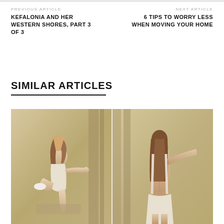PREVIOUS ARTICLE
KEFALONIA AND HER WESTERN SHORES, PART 3 OF 3
NEXT ARTICLE
6 TIPS TO WORRY LESS WHEN MOVING YOUR HOME
SIMILAR ARTICLES
[Figure (photo): Two female models in light-colored clothing posed against stone columns/pillars in an architectural setting. Left model is mid-motion with leg raised; right model faces away showing bare back with arm extended.]